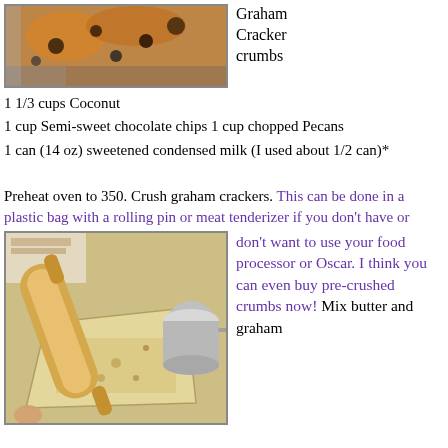[Figure (photo): Photo of a baked dessert bar with chocolate chips, coconut, and nuts on top, with golden crust visible]
Graham Cracker crumbs
1 1/3 cups Coconut
1 cup Semi-sweet chocolate chips 1 cup chopped Pecans
1 can (14 oz) sweetened condensed milk (I used about 1/2 can)*
Preheat oven to 350. Crush graham crackers. This can be done in a plastic bag with a rolling pin or meat tenderizer if you don't have or don't want to use your food processor or Oscar. I think you can even buy pre-crushed crumbs now! Mix butter and graham
[Figure (photo): Photo of a rolling pin crushing graham crackers inside a plastic bag on a cutting board, with a metal measuring cup nearby]